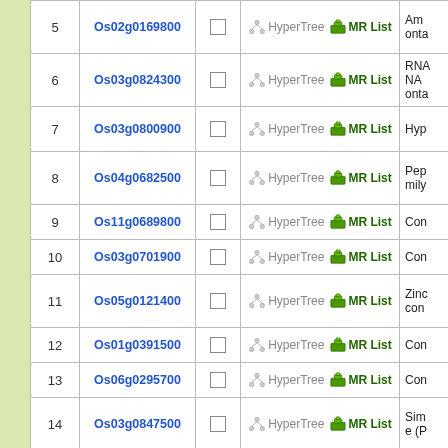| # | Gene ID | Select | Tools | Description |
| --- | --- | --- | --- | --- |
| 5 | Os02g0169800 |  | HyperTree  MR List | Am...onta... |
| 6 | Os03g0824300 |  | HyperTree  MR List | RNA... NA... onta... |
| 7 | Os03g0800900 |  | HyperTree  MR List | Hyp... |
| 8 | Os04g0682500 |  | HyperTree  MR List | Pep... mily... |
| 9 | Os11g0689800 |  | HyperTree  MR List | Con... |
| 10 | Os03g0701900 |  | HyperTree  MR List | Con... |
| 11 | Os05g0121400 |  | HyperTree  MR List | Zinc... con... |
| 12 | Os01g0391500 |  | HyperTree  MR List | Con... |
| 13 | Os06g0295700 |  | HyperTree  MR List | Con... |
| 14 | Os03g0847500 |  | HyperTree  MR List | Sim... e (P... |
| 15 | Os11g0132000 |  | HyperTree  MR List | Sim... fura... AH-... |
| 16 | Os02g0600000 |  | HyperTree  MR List | Con... |